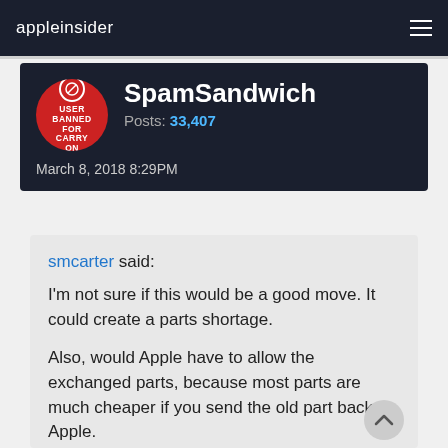appleinsider
SpamSandwich
Posts: 33,407
March 8, 2018 8:29PM
smcarter said:
I'm not sure if this would be a good move. It could create a parts shortage.

Also, would Apple have to allow the exchanged parts, because most parts are much cheaper if you send the old part back to Apple.

Also, any non-Apple authorized repair facility should have to make clear that they are not Apple authorized.

Some third party repair centers do things that an Apple authorized repair shop would never do like glue batteries into laptops. I've seen where laptops have